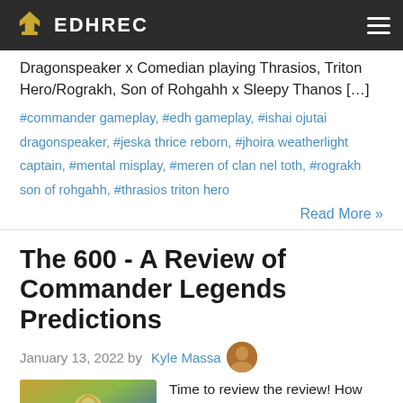EDHREC
Dragonspeaker x Comedian playing Thrasios, Triton Hero/Rograkh, Son of Rohgahh x Sleepy Thanos […]
#commander gameplay, #edh gameplay, #ishai ojutai dragonspeaker, #jeska thrice reborn, #jhoira weatherlight captain, #mental misplay, #meren of clan nel toth, #rograkh son of rohgahh, #thrasios triton hero
Read More »
The 600 - A Review of Commander Legends Predictions
January 13, 2022 by Kyle Massa
Time to review the review! How popular did the Commander